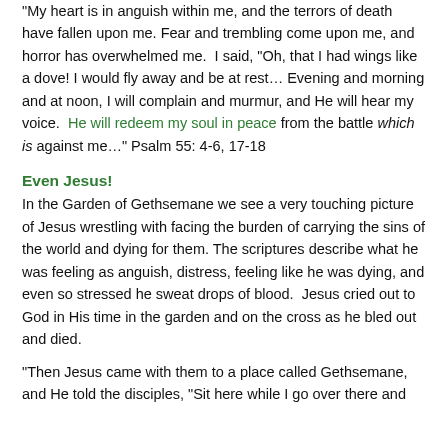"My heart is in anguish within me, and the terrors of death have fallen upon me. Fear and trembling come upon me, and horror has overwhelmed me.  I said, “Oh, that I had wings like a dove! I would fly away and be at rest… Evening and morning and at noon, I will complain and murmur, and He will hear my voice.  He will redeem my soul in peace from the battle which is against me…” Psalm 55: 4-6, 17-18
Even Jesus!
In the Garden of Gethsemane we see a very touching picture of Jesus wrestling with facing the burden of carrying the sins of the world and dying for them. The scriptures describe what he was feeling as anguish, distress, feeling like he was dying, and even so stressed he sweat drops of blood.  Jesus cried out to God in His time in the garden and on the cross as he bled out and died.
“Then Jesus came with them to a place called Gethsemane, and He told the disciples, “Sit here while I go over there and